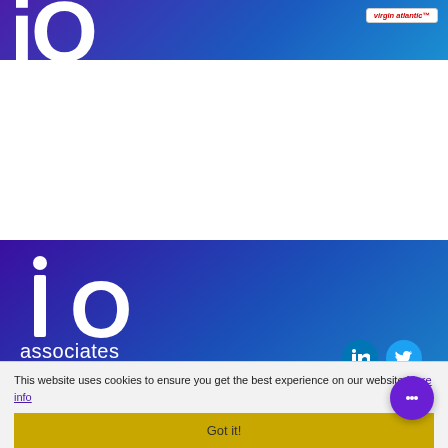[Figure (logo): iO Associates logo partial view at top — large white 'iO' letters on purple-blue gradient banner with Virgin Atlantic badge top right]
[Figure (logo): iO associates logo — white 'iO' letters large on purple-blue gradient background with 'associates' text below and 'A division of PRG' with arrow logo]
This website uses cookies to ensure you get the best experience on our website. More info
Got it!